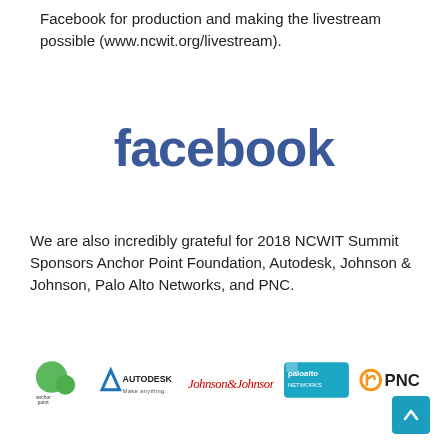Facebook for production and making the livestream possible (www.ncwit.org/livestream).
[Figure (logo): Facebook wordmark logo in blue bold lowercase letters]
We are also incredibly grateful for 2018 NCWIT Summit Sponsors Anchor Point Foundation, Autodesk, Johnson & Johnson, Palo Alto Networks, and PNC.
[Figure (logo): Sponsor logos row: Anchor Point Foundation (green icons), Autodesk Make anything, Johnson & Johnson script, Palo Alto Networks blue badge, PNC orange logo]